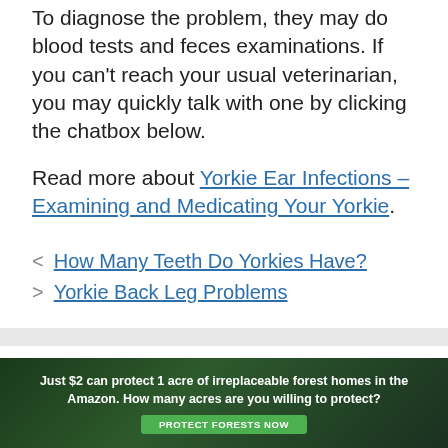To diagnose the problem, they may do blood tests and feces examinations. If you can't reach your usual veterinarian, you may quickly talk with one by clicking the chatbox below.
Read more about Yorkie Ear Infections – Examining and Medicating Your Yorkie.
How Many Teeth Do Yorkies Have?
Yorkie Back Leg Problems
Search
[Figure (photo): Advertisement banner: Just $2 can protect 1 acre of irreplaceable forest homes in the Amazon. How many acres are you willing to protect? PROTECT FORESTS NOW]